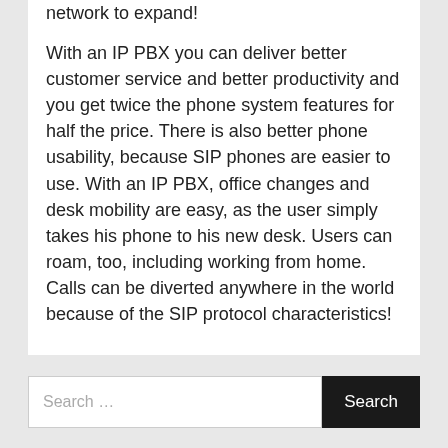network to expand!

With an IP PBX you can deliver better customer service and better productivity and you get twice the phone system features for half the price. There is also better phone usability, because SIP phones are easier to use. With an IP PBX, office changes and desk mobility are easy, as the user simply takes his phone to his new desk. Users can roam, too, including working from home. Calls can be diverted anywhere in the world because of the SIP protocol characteristics!